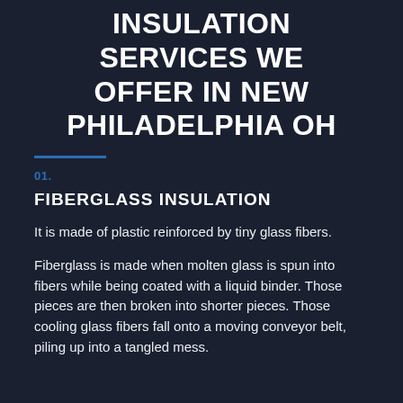INSULATION SERVICES WE OFFER IN NEW PHILADELPHIA OH
01.
FIBERGLASS INSULATION
It is made of plastic reinforced by tiny glass fibers.
Fiberglass is made when molten glass is spun into fibers while being coated with a liquid binder. Those pieces are then broken into shorter pieces. Those cooling glass fibers fall onto a moving conveyor belt, piling up into a tangled mess.